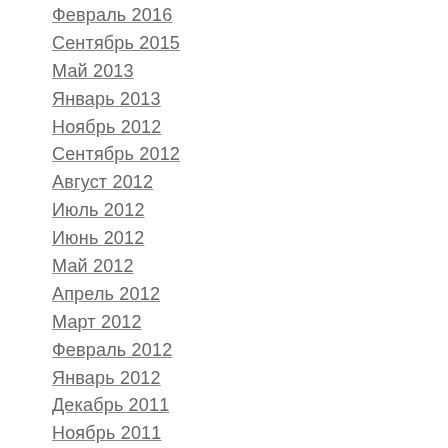Февраль 2016
Сентябрь 2015
Май 2013
Январь 2013
Ноябрь 2012
Сентябрь 2012
Август 2012
Июль 2012
Июнь 2012
Май 2012
Апрель 2012
Март 2012
Февраль 2012
Январь 2012
Декабрь 2011
Ноябрь 2011
Октябрь 2011
Сентябрь 2011
Август 2011